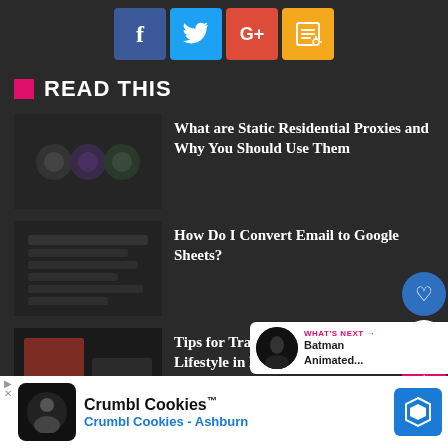[Figure (other): Social media share buttons: Facebook (blue), Twitter (blue), Google+ (red), RSS (orange/yellow)]
READ THIS
[Figure (photo): Thumbnail image for article about Static Residential Proxies]
What are Static Residential Proxies and Why You Should Use Them
[Figure (photo): Thumbnail image for article about Convert Email to Google Sheets]
How Do I Convert Email to Google Sheets?
[Figure (photo): Thumbnail image for article about Tips for Transforming Health & Lifestyle]
Tips for Transforming Health & Lifestyle in Life
[Figure (other): What's Next widget showing Batman Animated... with a circular thumbnail]
[Figure (other): Advertisement banner for Crumbl Cookies - Ashburn]